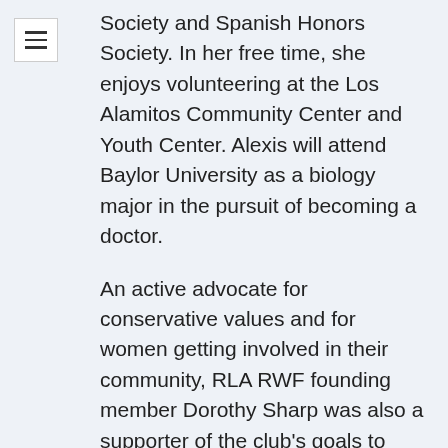Society and Spanish Honors Society. In her free time, she enjoys volunteering at the Los Alamitos Community Center and Youth Center. Alexis will attend Baylor University as a biology major in the pursuit of becoming a doctor.
An active advocate for conservative values and for women getting involved in their community, RLA RWF founding member Dorothy Sharp was also a supporter of the club's goals to provide scholarships to high school students entering college.
The scholarships were open to seniors at the following high schools: Oxford Academy (Cypress), Cypress High School, Kennedy High School (La Palma), Los Alamitos High School and